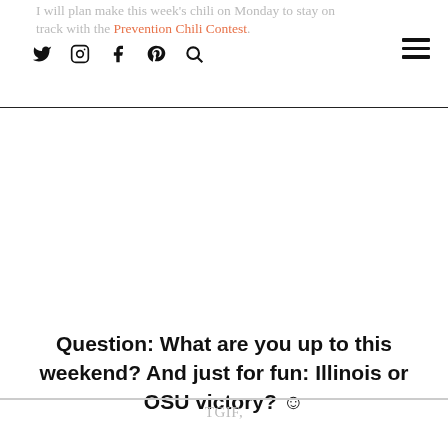I will plan make this week's chili on Monday to stay on track with the Prevention Chili Contest.
Question: What are you up to this weekend? And just for fun: Illinois or OSU victory? ☺
TGIF,